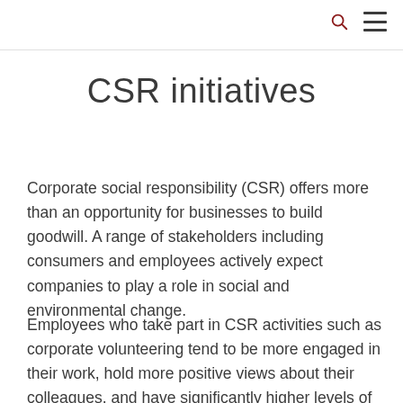CSR initiatives
Corporate social responsibility (CSR) offers more than an opportunity for businesses to build goodwill. A range of stakeholders including consumers and employees actively expect companies to play a role in social and environmental change.
Employees who take part in CSR activities such as corporate volunteering tend to be more engaged in their work, hold more positive views about their colleagues, and have significantly higher levels of job satisfaction. These are worthwhile outcomes for any business, and they can